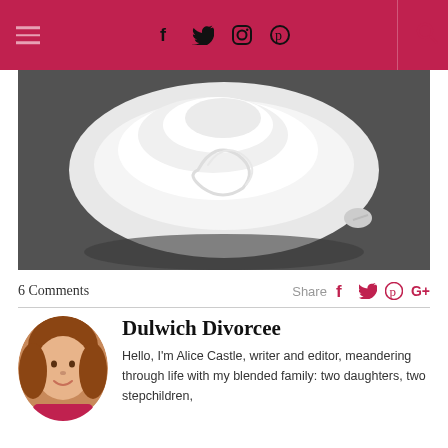Dulwich Divorcee blog header with hamburger menu, social icons (Facebook, Twitter, Instagram, Pinterest), and search icon
[Figure (photo): Top-down photo of a white rolled duvet/comforter on a dark grey damask-patterned background]
6 Comments
Share
Author: Dulwich Divorcee
Dulwich Divorcee
Hello, I'm Alice Castle, writer and editor, meandering through life with my blended family: two daughters, two stepchildren,